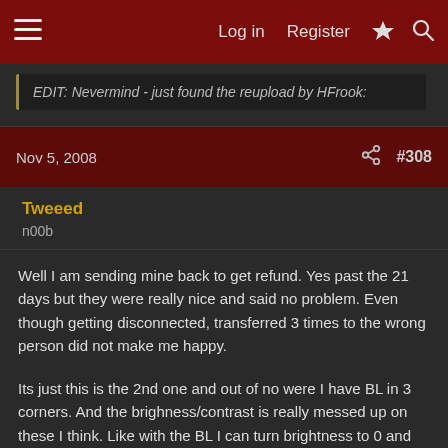≡  Log in  Register  ⚡  🔍
EDIT: Nevermind - just found the reupload by HFrook:
Nov 5, 2008  #308
Tweeed
n00b
Well I am sending mine back to get refund. Yes past the 21 days but they were really nice and said no problem. Even though getting disconnected, transferred 3 times to the wrong person did not make me happy.
Its just this is the 2nd one and out of no were I have BL in 3 corners. And the brighness/contrast is really messed up on these I think. Like with the BL I can turn brightness to 0 and you still see the BL. Turning contrast to like 20 then and only then does it start to fade with brightness at 0. Take contrast